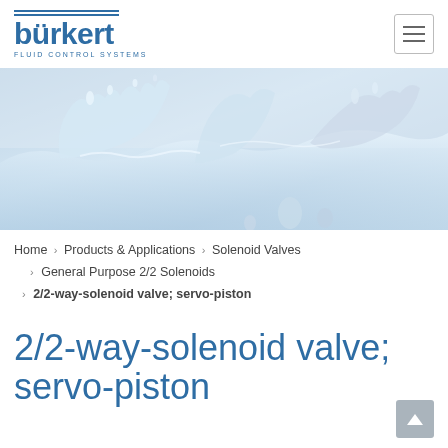[Figure (logo): Bürkert Fluid Control Systems logo with blue text and horizontal lines above the brand name]
[Figure (photo): Hero banner image showing water splashing against a light blue/grey background]
Home › Products & Applications › Solenoid Valves › General Purpose 2/2 Solenoids › 2/2-way-solenoid valve; servo-piston
2/2-way-solenoid valve; servo-piston